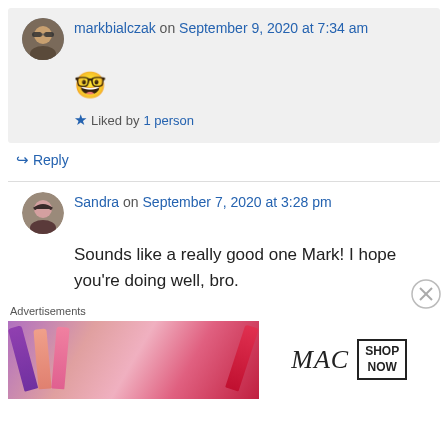markbialczak on September 9, 2020 at 7:34 am
🤓
Liked by 1 person
↳ Reply
Sandra on September 7, 2020 at 3:28 pm
Sounds like a really good one Mark! I hope you're doing well, bro.
Advertisements
[Figure (photo): MAC cosmetics advertisement banner showing lipsticks with MAC logo and SHOP NOW button]